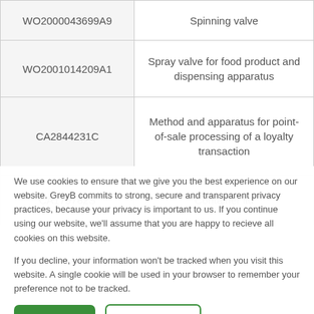| Patent Number | Title |
| --- | --- |
| WO2000043699A9 | Spinning valve |
| WO2001014209A1 | Spray valve for food product and dispensing apparatus |
| CA2844231C | Method and apparatus for point-of-sale processing of a loyalty transaction |
| CA179782S | Container lid |
We use cookies to ensure that we give you the best experience on our website. GreyB commits to strong, secure and transparent privacy practices, because your privacy is important to us. If you continue using our website, we'll assume that you are happy to recieve all cookies on this website.

If you decline, your information won't be tracked when you visit this website. A single cookie will be used in your browser to remember your preference not to be tracked.